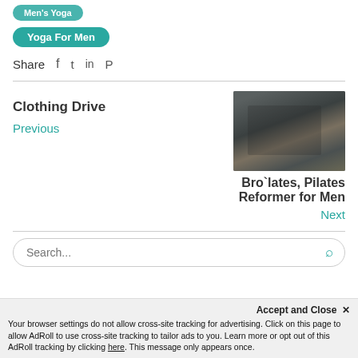Men's Yoga
Yoga For Men
Share  f  t  in  p
Clothing Drive
Previous
[Figure (photo): Men practicing Pilates reformer exercises in a studio, lying on reformer machines]
Bro`lates, Pilates Reformer for Men
Next
Search...
Accept and Close ✕
Your browser settings do not allow cross-site tracking for advertising. Click on this page to allow AdRoll to use cross-site tracking to tailor ads to you. Learn more or opt out of this AdRoll tracking by clicking here. This message only appears once.